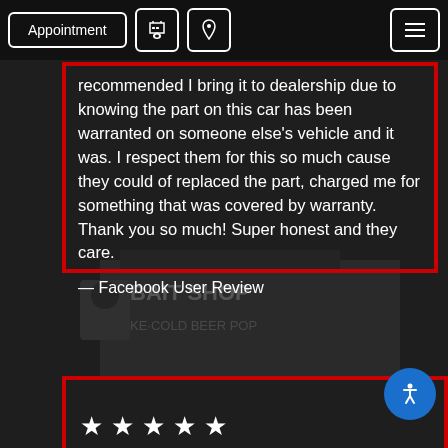Appointment [phone icon] [location icon] [menu icon]
recommended I bring it to dealership due to knowing the part on this car has been warranted on someone else’s vehicle and it was. I respect them for this so much cause they could of replaced the part, charged me for something that was covered by warranty. Thank you so much! Super honest and they care.
— Facebook User Review
[Figure (other): Partial view of a second review card with five white stars at the bottom, and an accessibility icon button in the lower right corner]